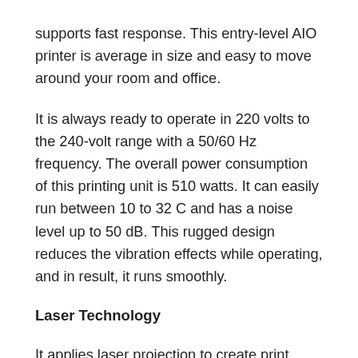supports fast response. This entry-level AIO printer is average in size and easy to move around your room and office.
It is always ready to operate in 220 volts to the 240-volt range with a 50/60 Hz frequency. The overall power consumption of this printing unit is 510 watts. It can easily run between 10 to 32 C and has a noise level up to 50 dB. This rugged design reduces the vibration effects while operating, and in result, it runs smoothly.
Laser Technology
It applies laser projection to create print content. The fusing roller melts down the ink so that ink sticks to the paper. Both the laser and roller work together